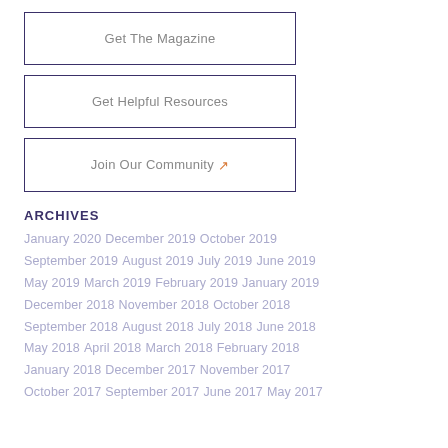Get The Magazine
Get Helpful Resources
Join Our Community
ARCHIVES
January 2020  December 2019  October 2019  September 2019  August 2019  July 2019  June 2019  May 2019  March 2019  February 2019  January 2019  December 2018  November 2018  October 2018  September 2018  August 2018  July 2018  June 2018  May 2018  April 2018  March 2018  February 2018  January 2018  December 2017  November 2017  October 2017  September 2017  June 2017  May 2017